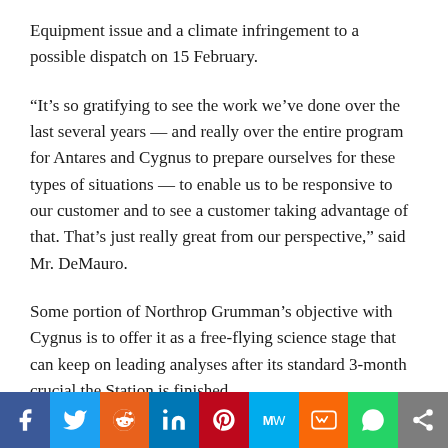Equipment issue and a climate infringement to a possible dispatch on 15 February.
“It’s so gratifying to see the work we’ve done over the last several years — and really over the entire program for Antares and Cygnus to prepare ourselves for these types of situations — to enable us to be responsive to our customer and to see a customer taking advantage of that. That’s just really great from our perspective,” said Mr. DeMauro.
Some portion of Northrop Grumman’s objective with Cygnus is to offer it as a free-flying science stage that can keep on leading analyses after its standard 3-month crucial the Station is finished.
[Figure (infographic): Social media sharing bar with icons for Facebook, Twitter, Reddit, LinkedIn, Pinterest, MeWe, Mix, WhatsApp, and a share button.]